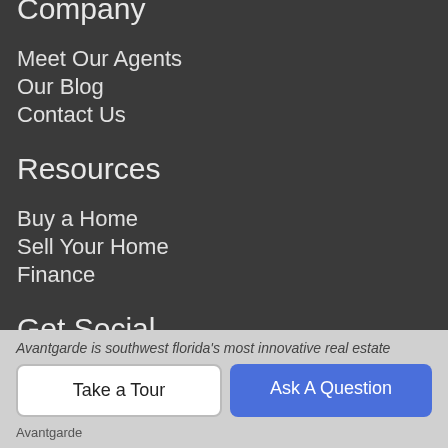Company
Meet Our Agents
Our Blog
Contact Us
Resources
Buy a Home
Sell Your Home
Finance
Get Social
[Figure (illustration): Orange circular RSS feed icon with white signal waves]
About Us
Avantgarde is southwest florida's most innovative real estate...
Take a Tour | Ask A Question
Avantgarde